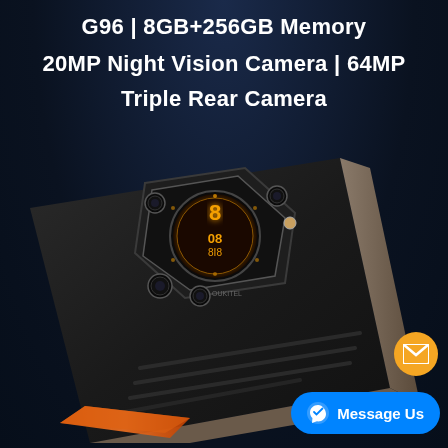G96 | 8GB+256GB Memory
20MP Night Vision Camera | 64MP
Triple Rear Camera
[Figure (photo): Rear view of a rugged smartphone (model G96) in black with a prominent hexagonal camera module housing multiple lenses and a circular secondary display showing orange-colored watch-face style UI. The phone has a textured back with grip lines and is photographed at an angle against a dark navy background.]
Message Us